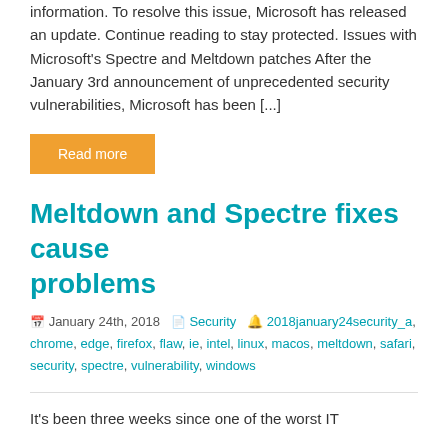information. To resolve this issue, Microsoft has released an update. Continue reading to stay protected. Issues with Microsoft's Spectre and Meltdown patches After the January 3rd announcement of unprecedented security vulnerabilities, Microsoft has been [...]
Read more
Meltdown and Spectre fixes cause problems
January 24th, 2018   Security   2018january24security_a, chrome, edge, firefox, flaw, ie, intel, linux, macos, meltdown, safari, security, spectre, vulnerability, windows
It's been three weeks since one of the worst IT